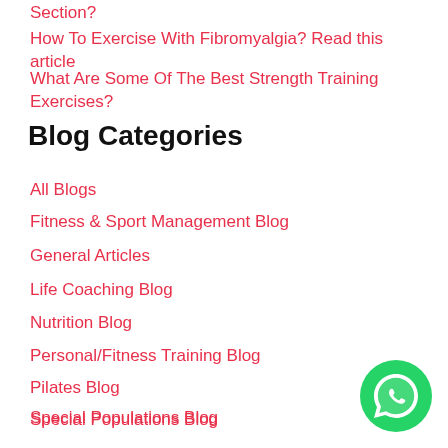Section?
How To Exercise With Fibromyalgia? Read this article
What Are Some Of The Best Strength Training Exercises?
Blog Categories
All Blogs
Fitness & Sport Management Blog
General Articles
Life Coaching Blog
Nutrition Blog
Personal/Fitness Training Blog
Pilates Blog
Special Populations Blog
Sports Course Blog
Uncategorized
Yoga Blog
[Figure (logo): WhatsApp chat button icon — green circle with white phone handset in speech bubble]